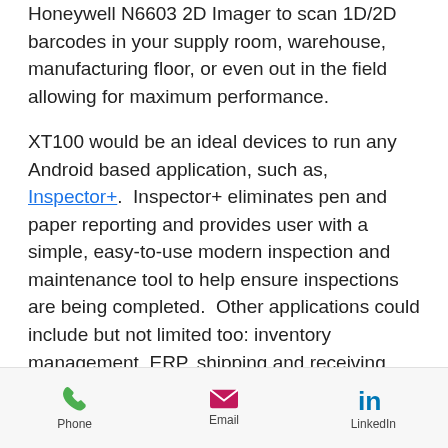Honeywell N6603 2D Imager to scan 1D/2D barcodes in your supply room, warehouse, manufacturing floor, or even out in the field allowing for maximum performance.
XT100 would be an ideal devices to run any Android based application, such as, Inspector+.  Inspector+ eliminates pen and paper reporting and provides user with a simple, easy-to-use modern inspection and maintenance tool to help ensure inspections are being completed.  Other applications could include but not limited too: inventory management, ERP, shipping and receiving, and your enterprise...
Phone  Email  LinkedIn